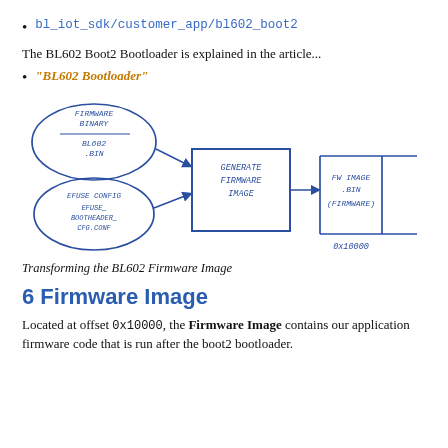bl_iot_sdk/customer_app/bl602_boot2
The BL602 Boot2 Bootloader is explained in the article...
"BL602 Bootloader"
[Figure (engineering-diagram): Diagram showing firmware image generation process: Firmware Binary (bl602.bin) and Efuse Config (efuse_bootheader_cfg.conf) as inputs feeding into 'Generate Firmware Image' box, which outputs FW Image .bin (FIRMWARE) at offset 0x10000.]
Transforming the BL602 Firmware Image
6 Firmware Image
Located at offset 0x10000, the Firmware Image contains our application firmware code that is run after the boot2 bootloader.